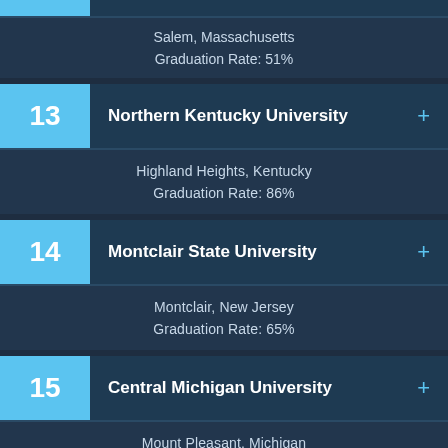Salem, Massachusetts
Graduation Rate: 51%
13 Northern Kentucky University
Highland Heights, Kentucky
Graduation Rate: 86%
14 Montclair State University
Montclair, New Jersey
Graduation Rate: 65%
15 Central Michigan University
Mount Pleasant, Michigan
Graduation Rate: 57%